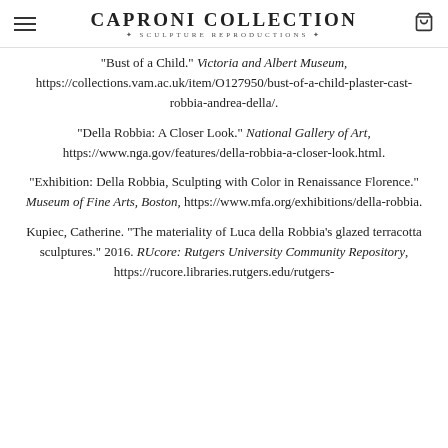Caproni Collection — Sculpture Reproductions
"Bust of a Child." Victoria and Albert Museum, https://collections.vam.ac.uk/item/O127950/bust-of-a-child-plaster-cast-robbia-andrea-della/.
"Della Robbia: A Closer Look." National Gallery of Art, https://www.nga.gov/features/della-robbia-a-closer-look.html.
"Exhibition: Della Robbia, Sculpting with Color in Renaissance Florence." Museum of Fine Arts, Boston, https://www.mfa.org/exhibitions/della-robbia.
Kupiec, Catherine. "The materiality of Luca della Robbia's glazed terracotta sculptures." 2016. RUcore: Rutgers University Community Repository, https://rucore.libraries.rutgers.edu/rutgers-